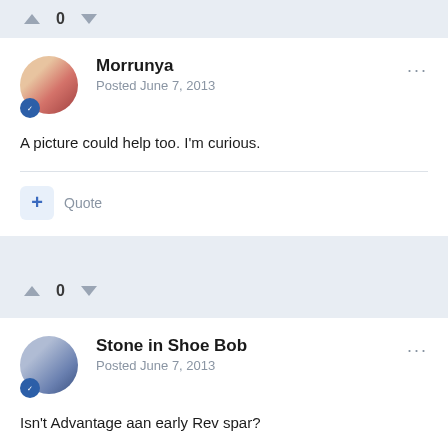0
Morrunya
Posted June 7, 2013
A picture could help too. I'm curious.
Quote
0
Stone in Shoe Bob
Posted June 7, 2013
Isn't Advantage aan early Rev spar?